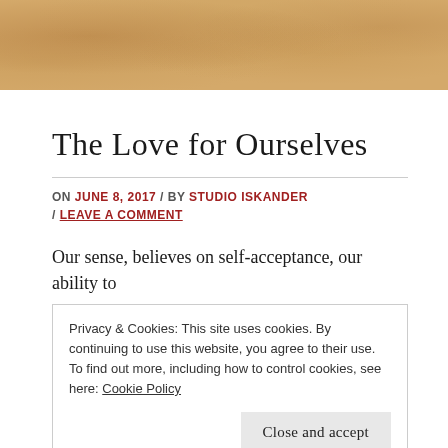[Figure (photo): Sand texture background image header]
The Love for Ourselves
ON JUNE 8, 2017 / BY STUDIO ISKANDER / LEAVE A COMMENT
Our sense, believes on self-acceptance, our ability to
Privacy & Cookies: This site uses cookies. By continuing to use this website, you agree to their use.
To find out more, including how to control cookies, see here: Cookie Policy
Close and accept
For example, we all have a certain invis... (partial text cut off)